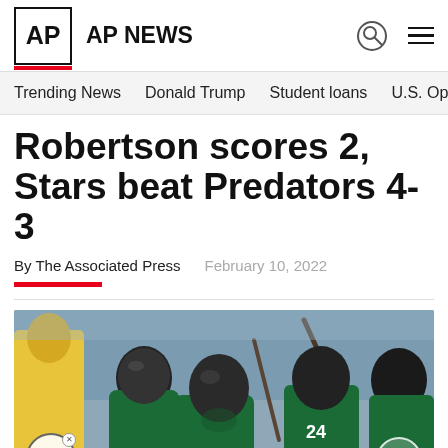AP NEWS
Trending News    Donald Trump    Student loans    U.S. Open Tenn
Robertson scores 2, Stars beat Predators 4-3
By The Associated Press    February 10, 2022
[Figure (photo): Dallas Stars hockey players in green jerseys celebrating on the ice, with a Nashville Predators player visible in yellow in the background. Player number 24 is visible among those celebrating.]